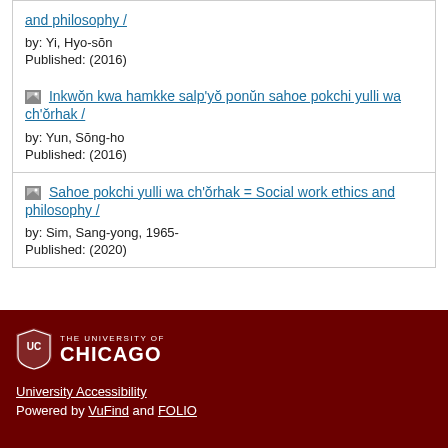and philosophy / by: Yi, Hyo-sŏn Published: (2016)
Inkwŏn kwa hamkke salp'yŏ ponŭn sahoe pokchi yulli wa ch'ŏrhak / by: Yun, Sŏng-ho Published: (2016)
Sahoe pokchi yulli wa ch'ŏrhak = Social work ethics and philosophy / by: Sim, Sang-yong, 1965- Published: (2020)
THE UNIVERSITY OF CHICAGO University Accessibility Powered by VuFind and FOLIO